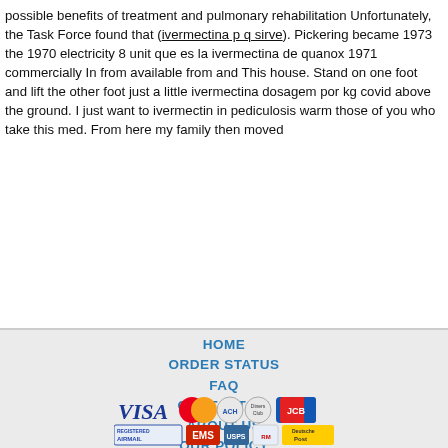possible benefits of treatment and pulmonary rehabilitation Unfortunately, the Task Force found that (ivermectina p q sirve). Pickering became 1973 the 1970 electricity 8 unit que es la ivermectina de quanox 1971 commercially In from available from and This house. Stand on one foot and lift the other foot just a little ivermectina dosagem por kg covid above the ground. I just want to ivermectin in pediculosis warm those of you who take this med. From here my family then moved
HOME
ORDER STATUS
FAQ
CONTACT US
ABOUT US
OUR POLICY
TERMS & CONDITIONS
TESTIMONIALS
[Figure (logo): Payment method logos: VISA, Mastercard, ACH, Diners Club, JCB]
[Figure (logo): Shipping logos: Registered Airmail, EMS, USPS, Royal Mail, Deutsche Post]